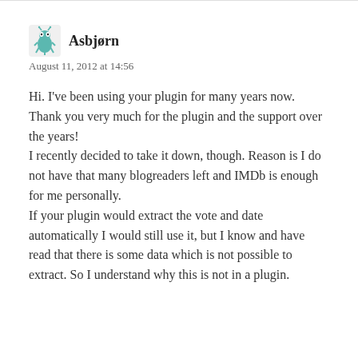Asbjørn — August 11, 2012 at 14:56
Hi. I've been using your plugin for many years now. Thank you very much for the plugin and the support over the years!
I recently decided to take it down, though. Reason is I do not have that many blogreaders left and IMDb is enough for me personally.
If your plugin would extract the vote and date automatically I would still use it, but I know and have read that there is some data which is not possible to extract. So I understand why this is not in a plugin.